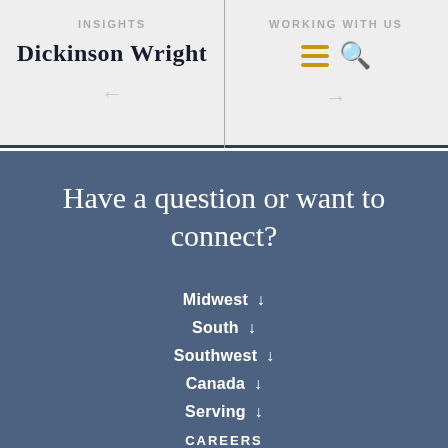INSIGHTS | Dickinson Wright | WORKING WITH US
Have a question or want to connect?
Midwest ↓
South ↓
Southwest ↓
Canada ↓
Serving ↓
CAREERS